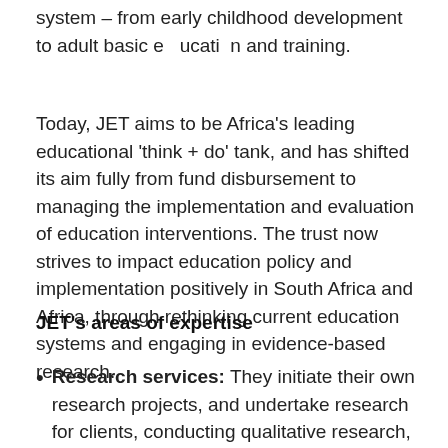system – from early childhood development to adult basic education and training.
Today, JET aims to be Africa's leading educational 'think + do' tank, and has shifted its aim fully from fund disbursement to managing the implementation and evaluation of education interventions. The trust now strives to impact education policy and implementation positively in South Africa and Africa, through rethinking current education systems and engaging in evidence-based research.
JET's areas of expertise
Research services: They initiate their own research projects, and undertake research for clients, conducting qualitative research, surveys, literature reviews, data collection and analysis, learner and